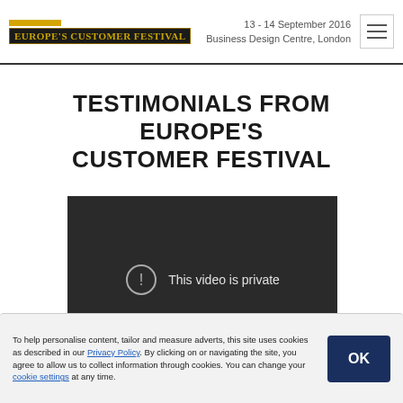13 - 14 September 2016 Business Design Centre, London
TESTIMONIALS FROM EUROPE'S CUSTOMER FESTIVAL
[Figure (screenshot): Embedded video player showing 'This video is private' message with exclamation mark icon and play button]
To help personalise content, tailor and measure adverts, this site uses cookies as described in our Privacy Policy. By clicking on or navigating the site, you agree to allow us to collect information through cookies. You can change your cookie settings at any time.